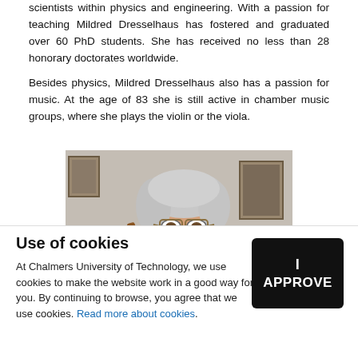scientists within physics and engineering. With a passion for teaching Mildred Dresselhaus has fostered and graduated over 60 PhD students. She has received no less than 28 honorary doctorates worldwide.
Besides physics, Mildred Dresselhaus also has a passion for music. At the age of 83 she is still active in chamber music groups, where she plays the violin or the viola.
[Figure (photo): Elderly woman with white hair and glasses, holding a violin or viola, photographed indoors with artwork on wall behind her.]
Use of cookies
At Chalmers University of Technology, we use cookies to make the website work in a good way for you. By continuing to browse, you agree that we use cookies. Read more about cookies.